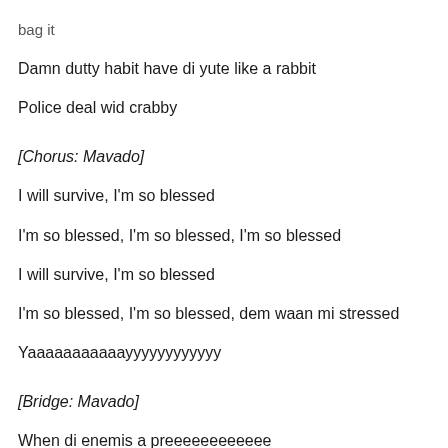bag it
Damn dutty habit have di yute like a rabbit
Police deal wid crabby
[Chorus: Mavado]
I will survive, I'm so blessed
I'm so blessed, I'm so blessed, I'm so blessed
I will survive, I'm so blessed
I'm so blessed, I'm so blessed, dem waan mi stressed
Yaaaaaaaaaaayyyyyyyyyyyy
[Bridge: Mavado]
When di enemis a preeeeeeeeeeee
And a bun like fire
Mi tek everyting to Jah in prayer
Long time dem nah like mi, di tings dem transpire
But Jah is my everyting and Him mek mi higher
Oooh, Jah, yeah
Thank you Jah, ooooooooooohhhhhhhh, Jah